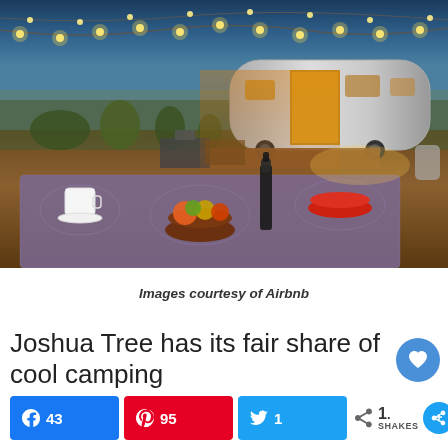[Figure (photo): Airstream silver trailer in desert setting at dusk/night with string lights strung overhead, outdoor seating area and grill on a wooden deck, foreground showing a table with patterned tablecloth holding fruit bowl, wine bottle, and red bowl. Joshua Tree-style landscape.]
Images courtesy of Airbnb
Joshua Tree has its fair share of cool camping